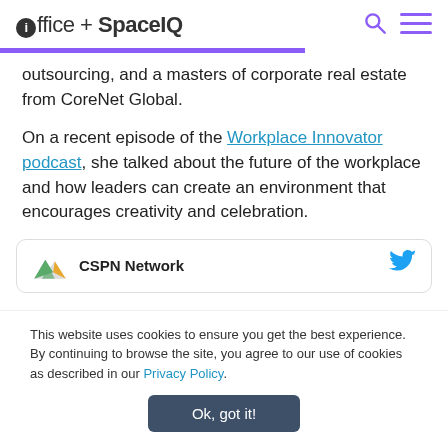ioffice + SpaceIQ
outsourcing, and a masters of corporate real estate from CoreNet Global.
On a recent episode of the Workplace Innovator podcast, she talked about the future of the workplace and how leaders can create an environment that encourages creativity and celebration.
[Figure (other): CSPN Network Twitter card with logo and Twitter bird icon]
This website uses cookies to ensure you get the best experience. By continuing to browse the site, you agree to our use of cookies as described in our Privacy Policy.